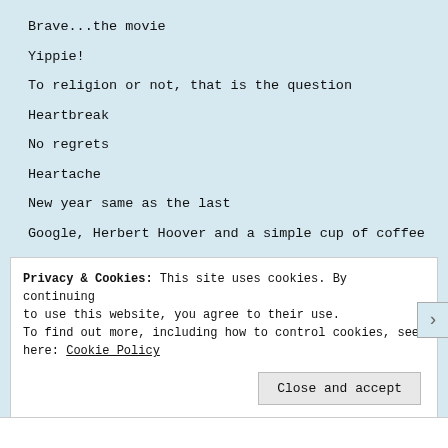Brave...the movie
Yippie!
To religion or not, that is the question
Heartbreak
No regrets
Heartache
New year same as the last
Google, Herbert Hoover and a simple cup of coffee
Waiting for the call....
Privacy & Cookies: This site uses cookies. By continuing to use this website, you agree to their use. To find out more, including how to control cookies, see here: Cookie Policy
Close and accept